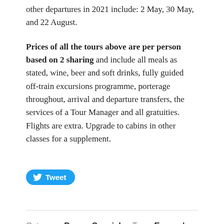other departures in 2021 include: 2 May, 30 May, and 22 August.
Prices of all the tours above are per person based on 2 sharing and include all meals as stated, wine, beer and soft drinks, fully guided off-train excursions programme, porterage throughout, arrival and departure transfers, the services of a Tour Manager and all gratuities. Flights are extra. Upgrade to cabins in other classes for a supplement.
[Figure (other): Twitter Tweet button with bird icon and 'Tweet' label in blue rounded button]
Category: Dream Specials · Tags: Europe's Year of the Rail, Golden Eagle Trans Siberian Express,